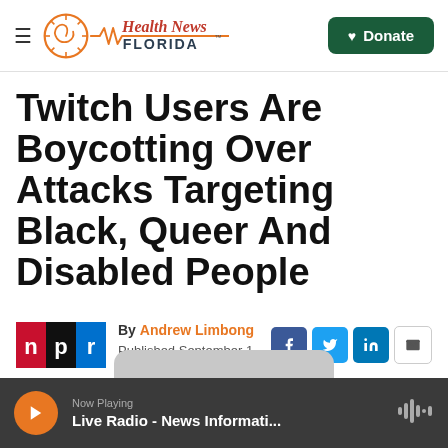Health News Florida — Donate
Twitch Users Are Boycotting Over Attacks Targeting Black, Queer And Disabled People
By Andrew Limbong
Published September 1, 2021 at 12:15 PM EDT
Now Playing
Live Radio - News Informati...